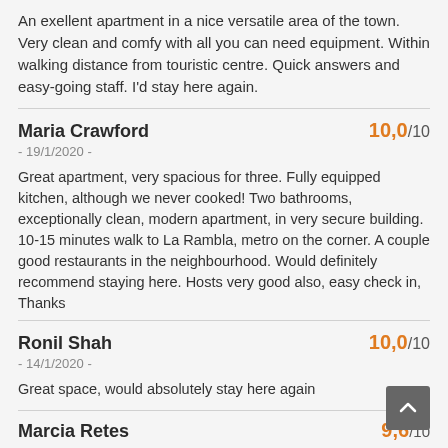An exellent apartment in a nice versatile area of the town. Very clean and comfy with all you can need equipment. Within walking distance from touristic centre. Quick answers and easy-going staff. I'd stay here again.
Maria Crawford
- 19/1/2020 -
10,0/10
Great apartment, very spacious for three. Fully equipped kitchen, although we never cooked! Two bathrooms, exceptionally clean, modern apartment, in very secure building. 10-15 minutes walk to La Rambla, metro on the corner. A couple good restaurants in the neighbourhood. Would definitely recommend staying here. Hosts very good also, easy check in, Thanks
Ronil Shah
- 14/1/2020 -
10,0/10
Great space, would absolutely stay here again
Marcia Retes
9,6/10